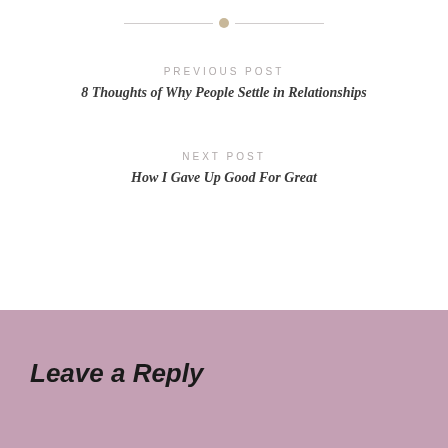[Figure (other): Horizontal divider with a small dot in the center, decorative separator element]
PREVIOUS POST
8 Thoughts of Why People Settle in Relationships
NEXT POST
How I Gave Up Good For Great
Leave a Reply